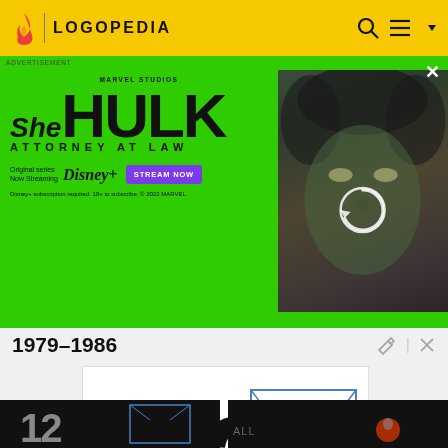LOGOPEDIA
[Figure (screenshot): She-Hulk Attorney at Law Disney+ advertisement banner on a bright green background with an actress photo on the right side]
1979–1986
[Figure (logo): KPNX Channel 12 logo with NBC peacock logo in a blue outlined box]
[Figure (photo): Channel 12 logo on dark background - thumbnail]
[Figure (photo): NBC related logo on dark background - thumbnail]